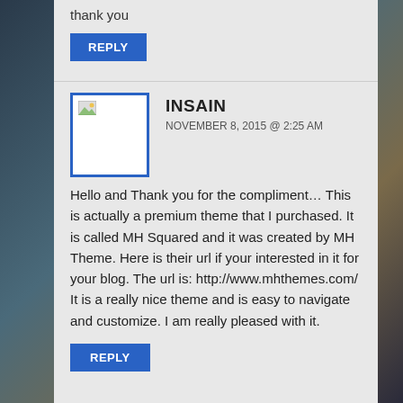thank you
REPLY
INSAIN
NOVEMBER 8, 2015 @ 2:25 AM
Hello and Thank you for the compliment… This is actually a premium theme that I purchased. It is called MH Squared and it was created by MH Theme. Here is their url if your interested in it for your blog. The url is: http://www.mhthemes.com/ It is a really nice theme and is easy to navigate and customize. I am really pleased with it.
REPLY